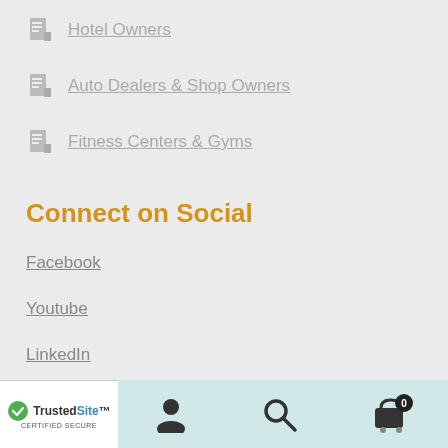Hotel Owners
Auto Dealers & Shop Owners
Fitness Centers & Gyms
Connect on Social
Facebook
Youtube
LinkedIn
[Figure (screenshot): Bottom navigation bar with user icon, search icon, and cart icon with badge showing 0. TrustedSite certified secure badge in lower left.]